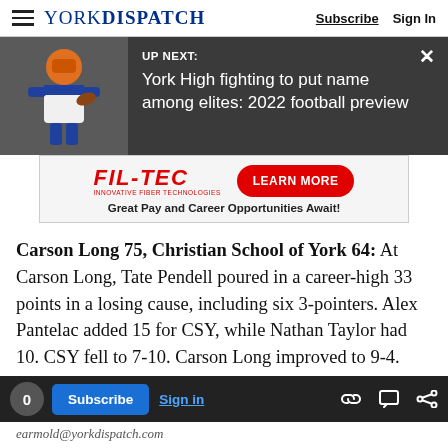YORK DISPATCH | Subscribe | Sign In
[Figure (screenshot): Up Next banner with football player image. UP NEXT: York High fighting to put name among elites: 2022 football preview]
[Figure (infographic): FIL-TEC advertisement: LEARN MORE button, Great Pay and Career Opportunities Await!]
Carson Long 75, Christian School of York 64: At Carson Long, Tate Pendell poured in a career-high 33 points in a losing cause, including six 3-pointers. Alex Pantelac added 15 for CSY, while Nathan Taylor had 10. CSY fell to 7-10. Carson Long improved to 9-4.
0  Subscribe  Sign in  [icons]
earmold@yorkdispatch.com